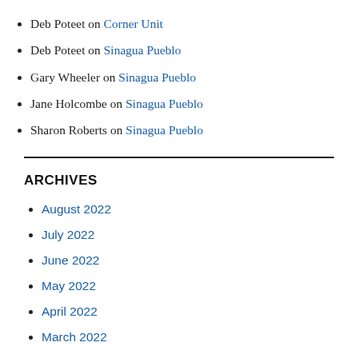Deb Poteet on Corner Unit
Deb Poteet on Sinagua Pueblo
Gary Wheeler on Sinagua Pueblo
Jane Holcombe on Sinagua Pueblo
Sharon Roberts on Sinagua Pueblo
ARCHIVES
August 2022
July 2022
June 2022
May 2022
April 2022
March 2022